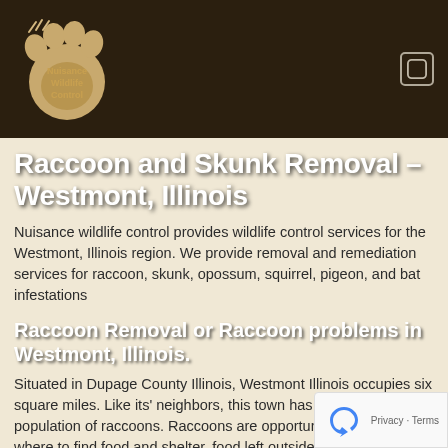[Figure (logo): Nuisance Wildlife Control logo: stylized animal paw print with text 'Nuisance Wildlife Control' in gold/tan font on dark brown background]
Raccoon and Skunk Removal – Westmont, Illinois
Nuisance wildlife control provides wildlife control services for the Westmont, Illinois region. We provide removal and remediation services for raccoon, skunk, opossum, squirrel, pigeon, and bat infestations
Raccoon Removal or Raccoon problems in Westmont, Illinois.
Situated in Dupage County Illinois, Westmont Illinois occupies six square miles. Like its' neighbors, this town has an urban population of raccoons. Raccoons are opportunistic and learn where to find food and shelter. food left outside, uncovered garbage cans, gardens w vegetables and fruit bearing trees allow easy meals fo raccoons. I have trapped raccoons in Westmont, Illinois in